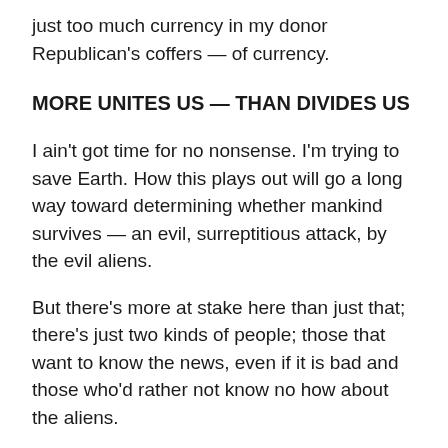just too much currency in my donor Republican's coffers — of currency.
MORE UNITES US — THAN DIVIDES US
I ain't got time for no nonsense. I'm trying to save Earth. How this plays out will go a long way toward determining whether mankind survives — an evil, surreptitious attack, by the evil aliens.
But there's more at stake here than just that; there's just two kinds of people; those that want to know the news, even if it is bad and those who'd rather not know no how about the aliens.
There's a whole lot of people who'd rather not know about the aliens. Methinks that includes just about everybody. That's why nobody on Earth is talking about this. But — I